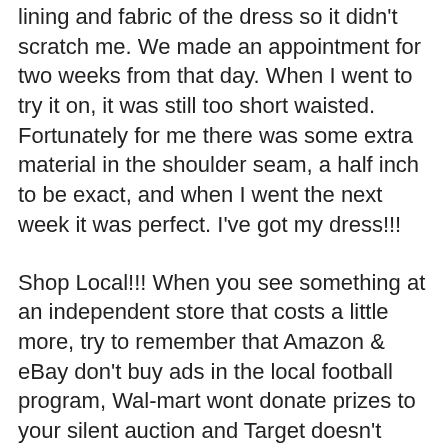lining and fabric of the dress so it didn't scratch me.  We made an appointment for two weeks from that day. When I went to try it on, it was still too short waisted. Fortunately for me there was some extra material in the shoulder seam, a half inch to be exact, and when I went the next week it was perfect.  I've got my dress!!!
Shop Local!!! When you see something at an independent store that costs a little more, try to remember that Amazon & eBay don't buy ads in the local football program, Wal-mart wont donate prizes to your silent auction and Target doesn't have kids playing little league in your community. Small business owners DO and they offer better customer service because